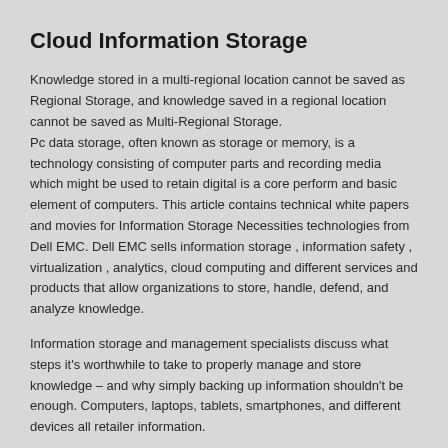Cloud Information Storage
Knowledge stored in a multi-regional location cannot be saved as Regional Storage, and knowledge saved in a regional location cannot be saved as Multi-Regional Storage. Pc data storage, often known as storage or memory, is a technology consisting of computer parts and recording media which might be used to retain digital is a core perform and basic element of computers. This article contains technical white papers and movies for Information Storage Necessities technologies from Dell EMC. Dell EMC sells information storage , information safety , virtualization , analytics, cloud computing and different services and products that allow organizations to store, handle, defend, and analyze knowledge.
Information storage and management specialists discuss what steps it's worthwhile to take to properly manage and store knowledge – and why simply backing up information shouldn't be enough. Computers, laptops, tablets, smartphones, and different devices all retailer information.